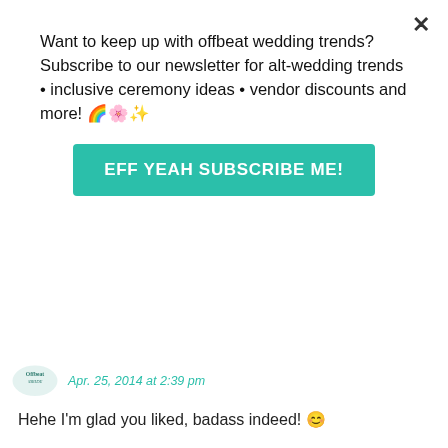Want to keep up with offbeat wedding trends?Subscribe to our newsletter for alt-wedding trends • inclusive ceremony ideas • vendor discounts and more! 🌈🌸✨
EFF YEAH SUBSCRIBE ME!
Apr. 25, 2014 at 2:39 pm
Hehe I'm glad you liked, badass indeed! 😊
amaadi says:
Apr. 25, 2014 at 4:14 pm
What a beautiful and moving story of love,passion,and pain im so glad you guys found each other and i wish you nothing but happiness and sucess. Congr